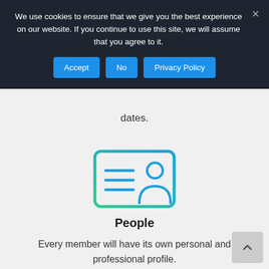We use cookies to ensure that we give you the best experience on our website. If you continue to use this site, we will assume that you agree to it.
Accept | No | Privacy Policy
dates.
[Figure (illustration): ID card icon with a person silhouette and horizontal lines, in teal/green gradient outline style]
People
Every member will have its own personal and professional profile.